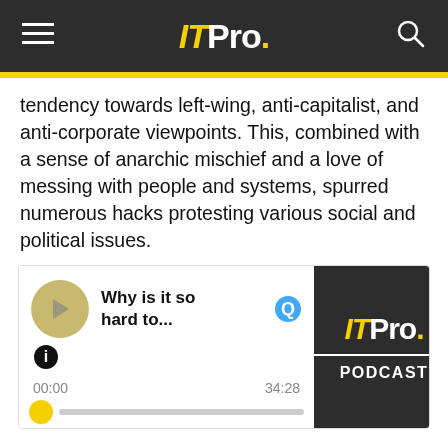ITPro.
tendency towards left-wing, anti-capitalist, and anti-corporate viewpoints. This, combined with a sense of anarchic mischief and a love of messing with people and systems, spurred numerous hacks protesting various social and political issues.
[Figure (other): ITPro Podcast audio player widget showing play button, title 'Why is it so hard to...', time 00:00 / 34:28, progress bar, and ITPro Podcast logo on dark background]